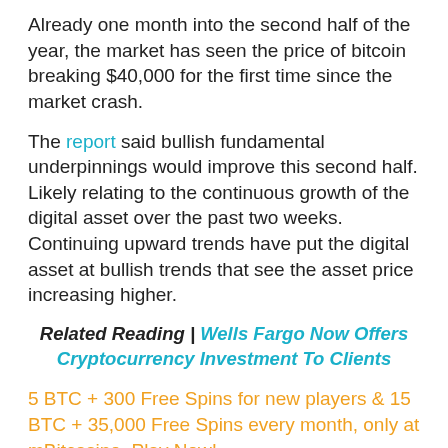Already one month into the second half of the year, the market has seen the price of bitcoin breaking $40,000 for the first time since the market crash.
The report said bullish fundamental underpinnings would improve this second half. Likely relating to the continuous growth of the digital asset over the past two weeks. Continuing upward trends have put the digital asset at bullish trends that see the asset price increasing higher.
Related Reading | Wells Fargo Now Offers Cryptocurrency Investment To Clients
5 BTC + 300 Free Spins for new players & 15 BTC + 35,000 Free Spins every month, only at mBitcasino. Play Now!